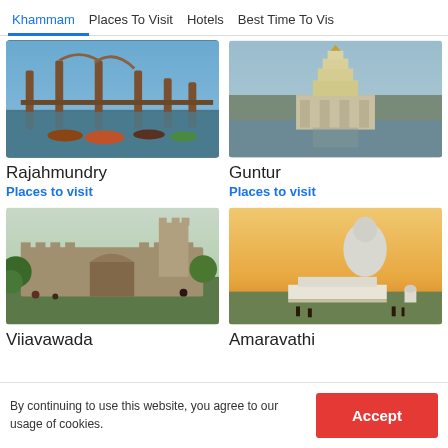Khammam  Places To Visit  Hotels  Best Time To Vis
[Figure (photo): Bridge over river with boats, Rajahmundry]
Rajahmundry
Places to visit
[Figure (photo): Temple structure in water, Guntur]
Guntur
Places to visit
[Figure (photo): Historical fort/ruins with visitors, Vijayawada]
Vijayawada
[Figure (photo): Giant Buddha statue, Amaravathi]
Amaravathi
By continuing to use this website, you agree to our usage of cookies.